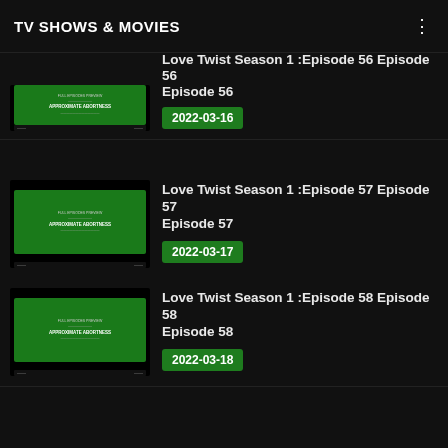TV SHOWS & MOVIES
Love Twist Season 1 :Episode 56 Episode 56 Episode 56
2022-03-16
Love Twist Season 1 :Episode 57 Episode 57 Episode 57
2022-03-17
Love Twist Season 1 :Episode 58 Episode 58 Episode 58
2022-03-18
Love Twist Season 1 :Episode 59 Episode 59 Episode 59
2022-03-21
Love Twist Season 1 :Episode 60 Episode 60 Episode 60